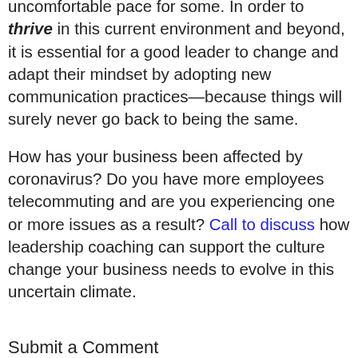uncomfortable pace for some. In order to thrive in this current environment and beyond, it is essential for a good leader to change and adapt their mindset by adopting new communication practices—because things will surely never go back to being the same.
How has your business been affected by coronavirus? Do you have more employees telecommuting and are you experiencing one or more issues as a result? Call to discuss how leadership coaching can support the culture change your business needs to evolve in this uncertain climate.
Submit a Comment